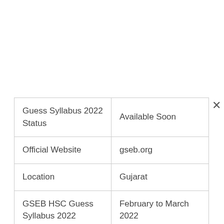| Guess Syllabus 2022 Status | Available Soon |
| Official Website | gseb.org |
| Location | Gujarat |
| GSEB HSC Guess Syllabus 2022 | February to March 2022 |
| Exam Level | State Level |